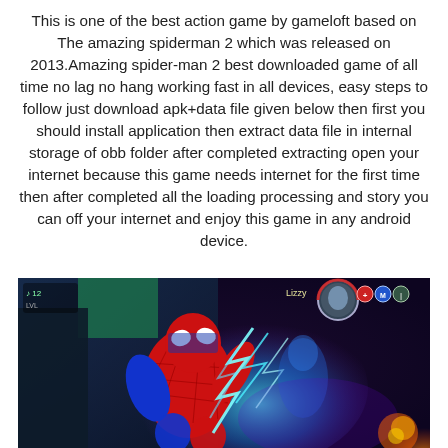This is one of the best action game by gameloft based on The amazing spiderman 2 which was released on 2013.Amazing spider-man 2 best downloaded game of all time no lag no hang working fast in all devices, easy steps to follow just download apk+data file given below then first you should install application then extract data file in internal storage of obb folder after completed extracting open your internet because this game needs internet for the first time then after completed all the loading processing and story you can off your internet and enjoy this game in any android device.
[Figure (screenshot): Screenshot of The Amazing Spider-Man 2 mobile game showing Spider-Man in his red and blue suit in combat against Electro with blue lightning effects. HUD elements visible including health bar, icons, and villain name 'Lizzy' displayed.]